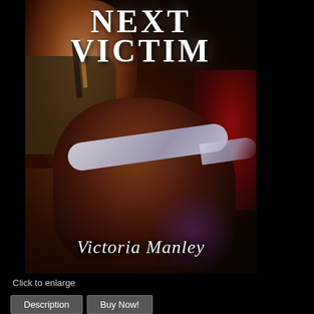[Figure (illustration): Book cover for 'Next Victim' by Victoria Manley. Dark background with a blindfolded man in the foreground and a woman in leopard print clothing visible at the top left. Title text 'NEXT VICTIM' in white serif font at top, author name 'Victoria Manley' in white italic script at bottom.]
Click to enlarge
Description
Buy Now!